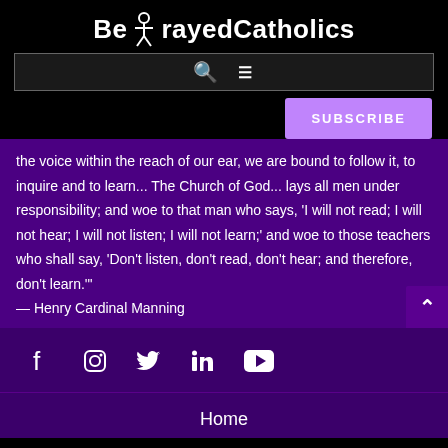BetrayedCatholics
[Figure (screenshot): Search bar with search icon and hamburger menu icon]
[Figure (other): SUBSCRIBE button in purple/lavender]
the voice within the reach of our ear, we are bound to follow it, to inquire and to learn... The Church of God... lays all men under responsibility; and woe to that man who says, 'I will not read; I will not hear; I will not listen; I will not learn;' and woe to those teachers who shall say, 'Don't listen, don't read, don't hear; and therefore, don't learn.'"
— Henry Cardinal Manning
[Figure (other): Social media icons: Facebook, Instagram, Twitter, LinkedIn, YouTube]
Home